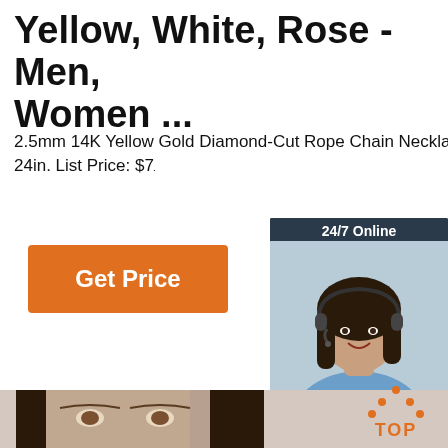Yellow, White, Rose - Men, Women ...
2.5mm 14K Yellow Gold Diamond-Cut Rope Chain Necklace - Heavy 18-24in. List Price: $7...
[Figure (photo): Orange 'Get Price' button]
[Figure (photo): 24/7 Online chat widget with woman wearing headset, 'Click here for free chat!' text, and orange QUOTATION button]
[Figure (photo): Bottom section showing a beige/cream background with a woman's face on the left, a ring on a surface in the center, and an orange TOP icon on the right]